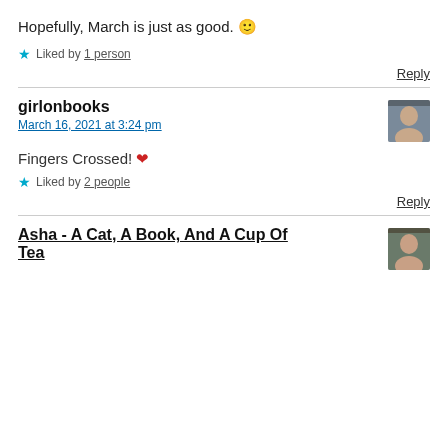Hopefully, March is just as good. 🙂
★ Liked by 1 person
Reply
girlonbooks
March 16, 2021 at 3:24 pm
Fingers Crossed! ❤
★ Liked by 2 people
Reply
Asha - A Cat, A Book, And A Cup Of Tea